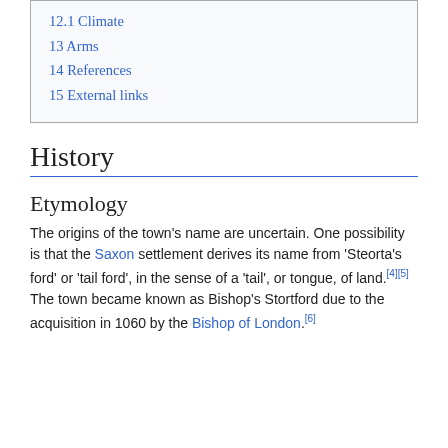12.1 Climate
13 Arms
14 References
15 External links
History
Etymology
The origins of the town's name are uncertain. One possibility is that the Saxon settlement derives its name from 'Steorta's ford' or 'tail ford', in the sense of a 'tail', or tongue, of land.[4][5] The town became known as Bishop's Stortford due to the acquisition in 1060 by the Bishop of London.[6]